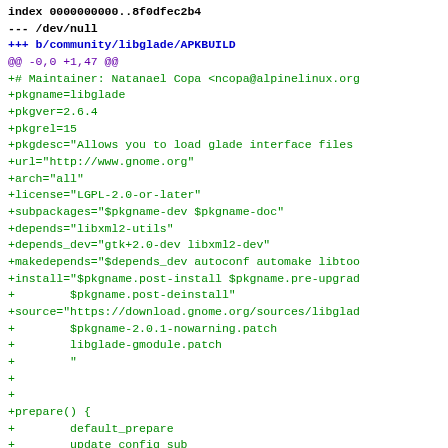index 0000000000..8f0dfec2b4
--- /dev/null
+++ b/community/libglade/APKBUILD
@@ -0,0 +1,47 @@
+# Maintainer: Natanael Copa <ncopa@alpinelinux.org
+pkgname=libglade
+pkgver=2.6.4
+pkgrel=15
+pkgdesc="Allows you to load glade interface files
+url="http://www.gnome.org"
+arch="all"
+license="LGPL-2.0-or-later"
+subpackages="$pkgname-dev $pkgname-doc"
+depends="libxml2-utils"
+depends_dev="gtk+2.0-dev libxml2-dev"
+makedepends="$depends_dev autoconf automake libtoo
+install="$pkgname.post-install $pkgname.pre-upgrad
+        $pkgname.post-deinstall"
+source="https://download.gnome.org/sources/libglad
+        $pkgname-2.0.1-nowarning.patch
+        libglade-gmodule.patch
+        "
+
+
+prepare() {
+        default_prepare
+        update_config_sub
+        libtoolize --force && aclocal && autoheader
+                && automake --add-missing
+}